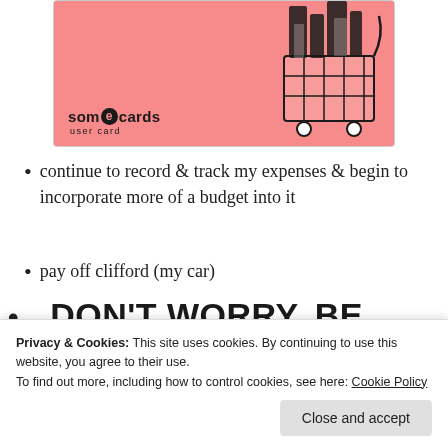[Figure (illustration): Someecards user card with pink background, shopping cart filled with items on the right, and the 'someecards user card' logo in the lower left.]
continue to record & track my expenses & begin to incorporate more of a budget into it
pay off clifford (my car)
.. DON'T WORRY, BE HAPPY
[Figure (illustration): Pink banner with handwritten-style italic text, partially visible at bottom left]
the always
Privacy & Cookies: This site uses cookies. By continuing to use this website, you agree to their use. To find out more, including how to control cookies, see here: Cookie Policy
Close and accept